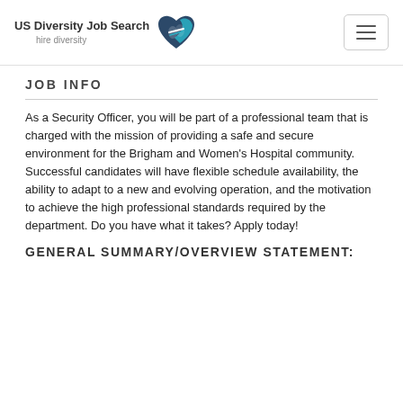US Diversity Job Search — hire diversity
JOB INFO
As a Security Officer, you will be part of a professional team that is charged with the mission of providing a safe and secure environment for the Brigham and Women's Hospital community. Successful candidates will have flexible schedule availability, the ability to adapt to a new and evolving operation, and the motivation to achieve the high professional standards required by the department. Do you have what it takes? Apply today!
GENERAL SUMMARY/OVERVIEW STATEMENT: